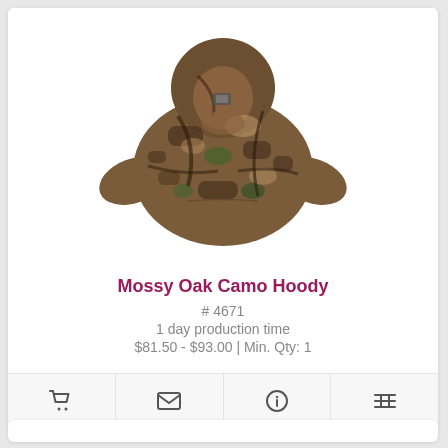[Figure (photo): A camouflage hoodie jacket with mossy oak pattern in brown, tan, and green tones, featuring a hood and front pockets.]
Mossy Oak Camo Hoody
# 4671
1 day production time
$81.50 - $93.00 | Min. Qty: 1